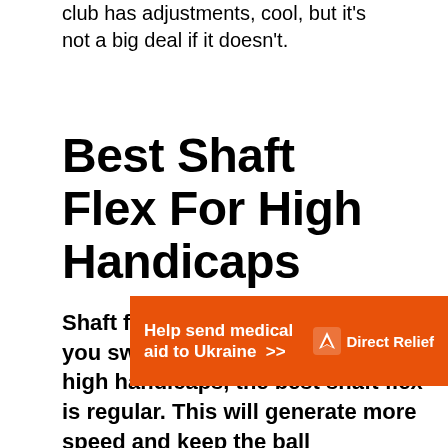club has adjustments, cool, but it's not a big deal if it doesn't.
Best Shaft Flex For High Handicaps
Shaft flex is based on how fast you swing the club, but for most high handicaps, the best shaft flex is regular. This will generate more speed and keep the ball
[Figure (other): Orange advertisement banner for Direct Relief reading 'Help send medical aid to Ukraine >>' with Direct Relief logo]